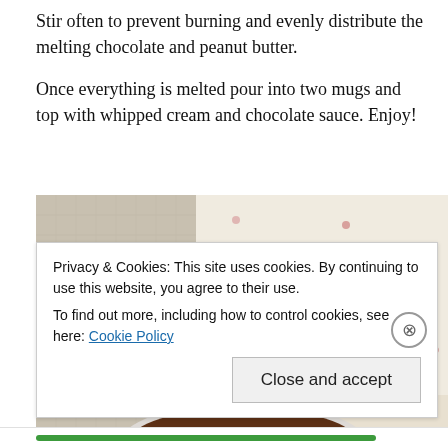Stir often to prevent burning and evenly distribute the melting chocolate and peanut butter.

Once everything is melted pour into two mugs and top with whipped cream and chocolate sauce. Enjoy!
[Figure (photo): Overhead view of a white mug filled with hot chocolate, viewed from above against a floral fabric background with small pink flowers.]
Privacy & Cookies: This site uses cookies. By continuing to use this website, you agree to their use.
To find out more, including how to control cookies, see here: Cookie Policy
Close and accept